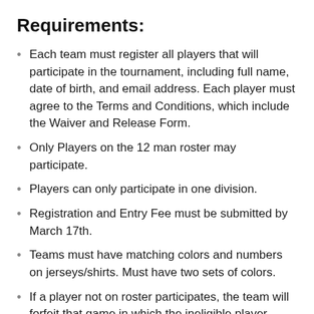Requirements:
Each team must register all players that will participate in the tournament, including full name, date of birth, and email address. Each player must agree to the Terms and Conditions, which include the Waiver and Release Form.
Only Players on the 12 man roster may participate.
Players can only participate in one division.
Registration and Entry Fee must be submitted by March 17th.
Teams must have matching colors and numbers on jerseys/shirts. Must have two sets of colors.
If a player not on roster participates, the team will forfeit that game in which the ineligible player participated.